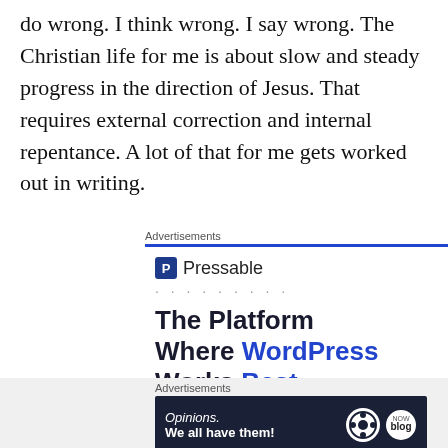do wrong. I think wrong. I say wrong. The Christian life for me is about slow and steady progress in the direction of Jesus. That requires external correction and internal repentance. A lot of that for me gets worked out in writing.
[Figure (infographic): Pressable advertisement banner with blue bar labeled 'Advertisements', Pressable logo with icon, dots, and tagline 'The Platform Where WordPress Works Best']
[Figure (infographic): Bottom advertisement bar labeled 'Advertisements' with dark navy banner reading 'Opinions. We all have them!' with WordPress and another logo on the right]